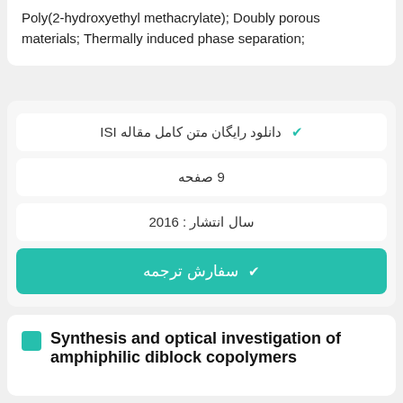Poly(2-hydroxyethyl methacrylate); Doubly porous materials; Thermally induced phase separation;
✓ دانلود رایگان متن کامل مقاله ISI
9 صفحه
سال انتشار : 2016
✓ سفارش ترجمه
Synthesis and optical investigation of amphiphilic diblock copolymers